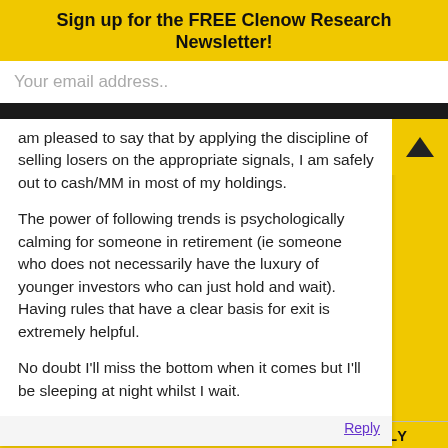Sign up for the FREE Clenow Research Newsletter!
Your email address..
Subscribe
am pleased to say that by applying the discipline of selling losers on the appropriate signals, I am safely out to cash/MM in most of my holdings.

The power of following trends is psychologically calming for someone in retirement (ie someone who does not necessarily have the luxury of younger investors who can just hold and wait). Having rules that have a clear basis for exit is extremely helpful.

No doubt I'll miss the bottom when it comes but I'll be sleeping at night whilst I wait.
Reply
Pingback: Still trending | Nick's Tricks
LEAVE A REPLY TO SERGEY CANCEL REPLY